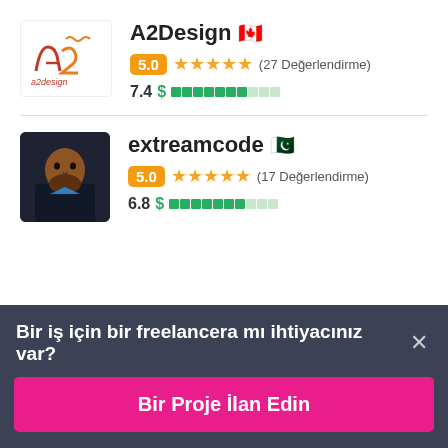[Figure (logo): A2Design logo with stylized 'a2design' text in orange/brown colors]
A2Design 🇨🇦
5.0 ★★★★★ (27 Değerlendirme)
7.4 $ [green bar indicator]
[Figure (photo): Profile photo of extreamcode user - man with beard in dark clothing]
extreamcode 🇵🇰
5.0 ★★★★★ (17 Değerlendirme)
6.8 $ [green bar indicator]
Bir iş için bir freelancera mı ihtiyacınız var? ×
Bir Proje İlan Edin